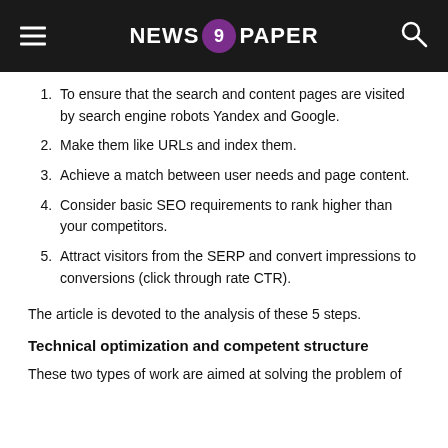NEWS 9 PAPER
To ensure that the search and content pages are visited by search engine robots Yandex and Google.
Make them like URLs and index them.
Achieve a match between user needs and page content.
Consider basic SEO requirements to rank higher than your competitors.
Attract visitors from the SERP and convert impressions to conversions (click through rate CTR).
The article is devoted to the analysis of these 5 steps.
Technical optimization and competent structure
These two types of work are aimed at solving the problem of indexing andacement of the site in the algorithm optimized…